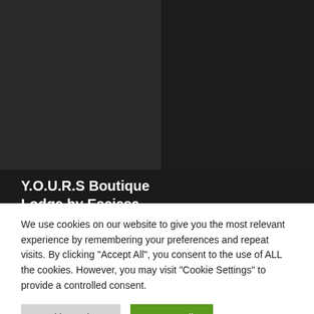[Figure (photo): Dark interior photograph of a boutique lodge room, shown in a dark overlay. Left panel shows room interior details; right panel shows a darker background area.]
INTERIOR
Y.O.U.R.S Boutique Lodge by Eseiesa
We use cookies on our website to give you the most relevant experience by remembering your preferences and repeat visits. By clicking “Accept All”, you consent to the use of ALL the cookies. However, you may visit "Cookie Settings" to provide a controlled consent.
Cookie Settings | Accept All